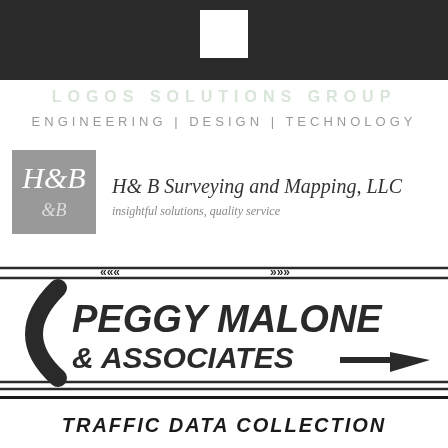[Figure (logo): Dark banner at top with white square/rectangle logo placeholder in center]
ENGINEERING | DESIGN | TECHNOLOGY
[Figure (logo): H&B Surveying and Mapping, LLC logo with grey square containing script H&B letters, company name in italic serif, tagline: insightful solutions, quality service]
[Figure (logo): Peggy Malone & Associates logo with curved arrow design, bold italic text, arrow decorations]
TRAFFIC DATA COLLECTION